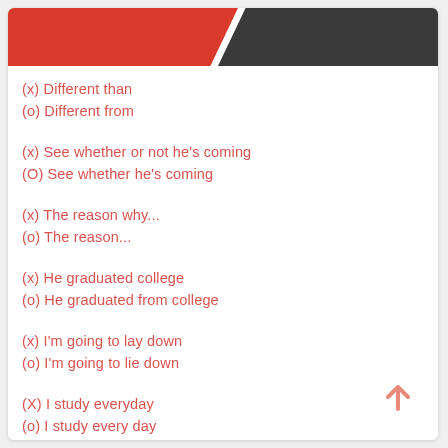[Figure (other): Red and dark gray banner header with diagonal split]
(x) Different than
(o) Different from
(x) See whether or not he's coming
(O) See whether he's coming
(x) The reason why...
(o) The reason...
(x) He graduated college
(o) He graduated from college
(x) I'm going to lay down
(o) I'm going to lie down
(X) I study everyday
(o) I study every day